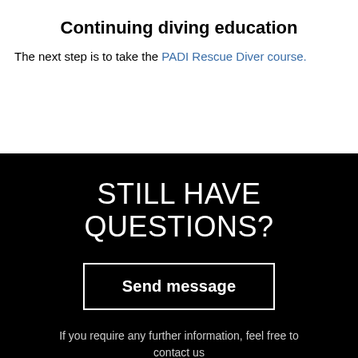Continuing diving education
The next step is to take the PADI Rescue Diver course.
STILL HAVE QUESTIONS?
Send message
If you require any further information, feel free to contact us